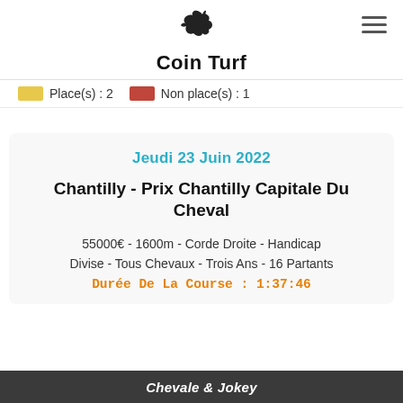Coin Turf
Place(s) : 2   Non place(s) : 1
Jeudi 23 Juin 2022
Chantilly - Prix Chantilly Capitale Du Cheval
55000€ - 1600m - Corde Droite - Handicap Divise - Tous Chevaux - Trois Ans - 16 Partants
Durée De La Course : 1:37:46
Chevale & Jokey